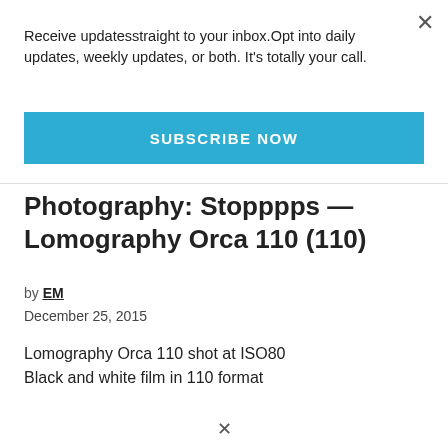Receive updatesstraight to your inbox.Opt into daily updates, weekly updates, or both. It's totally your call.
SUBSCRIBE NOW
Photography: Stopppps — Lomography Orca 110 (110)
by EM
December 25, 2015
Lomography Orca 110 shot at ISO80
Black and white film in 110 format